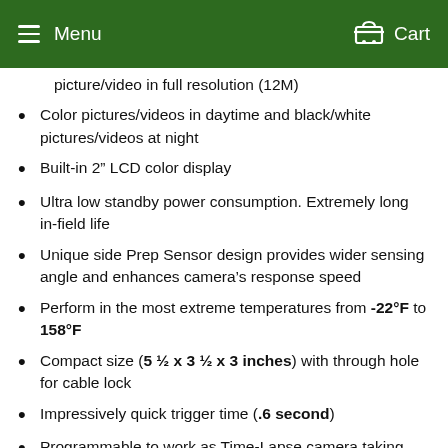Menu  Cart
picture/video in full resolution (12M)
Color pictures/videos in daytime and black/white pictures/videos at night
Built-in 2" LCD color display
Ultra low standby power consumption. Extremely long in-field life
Unique side Prep Sensor design provides wider sensing angle and enhances camera's response speed
Perform in the most extreme temperatures from -22°F to 158°F
Compact size (5 ½ x 3 ½ x 3 inches) with through hole for cable lock
Impressively quick trigger time (.6 second)
Programmable to work as Time-Lapse camera taking picture/video at chosen programmed intervals